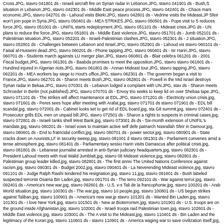Cross.JPG, stavro 041801 ds - Israeli aircraft fire on Syrian radar in Lebanon.JPG, stavro 041901 ds - Bush,S situation in Lebanon.JPG, stavro 042301 ds - Middle East peace process.JPG, stavro 042401 ds - Chaos mars economic.JPG, stavro 042701 ds - Lahoud visits Bkirki.JPG, stavro 042801 ds - Vedrine visits the Mideast.JP Sfeir won't join pope in Syria.JPG, stavro 050401 ds - MEA STRIKES.JPG, stavro 050501 ds - Pope visit to S reduces force.JPG, stavro 051001 ds - UNIFIL starts redeployment.JPG, stavro 051101 ds - Mideast crisis.JPG ds - UN plans to reduce the force.JPG, stavro 051601 ds - Middle East violence.JPG, stavro 051701 ds - Jumb 052101 ds - Palestinian situation.JPG, stavro 052201 ds - Israeli-Palestinian clashes.JPG, stavro 052301 ds - J situation.JPG, stavro 052801 ds - Challenges between Lebanon and Israel.JPG, stavro 052901 ds - Lahoud vis stavro 060101 ds - Faisal al-Husseini dead.JPG, stavro 060201 ds - Phone tapping.JPG, stavro 060401 ds - Isr Hariri.JPG, stavro 060701 ds - Students march againsts LU merger plan.JPG, stavro 060801 ds - Blair celebra 061201 ds - 2001 Fiscal budget.JPG, stavro 061301 ds - Baabda promises to meet the opposition.JPG, stavro stavro 061601 ds - Hundred injured in Algerian riots.JPG, stavro 061801 ds - Annan Mideast tour.JPG, stavro tapping.JPG, stavro 062201 ds - MEA workers lay siege to Hout's office.JPG, stavro 062301 ds - The governm began a visit to France.JPG, stavro 062701 ds - Sharon meets Bush.JPG, stavro 062801 ds - Powell in the Mid Israel destroys Syrian radar in Bekaa.JPG, stavro 070301 ds - Lebanon lodged a complaint with UN.JPG, stav ds - Sharon meets Schroeder in Berlin (not published).JPG, stavro 070701 ds - Envoy trio seeks to keep lid on over Shebaa tape.JPG, stavro 071101 ds - The strikes will affect maintenance at EDL.JPG, stavro 071201 ds - Electricity union crisis.jpg, stavro 071601 ds - Peres sees hope after meeting with Arafat.jpg, stavro 071701 ds stavro 071901 ds - EDL bill scandal.jpg, stavro 072001 ds - Cabinet looks set to get rid of EDL board.jpg, sta G8 summit.jpg, stavro 072401 ds - Prosecutor grills EDL men on unpaid bill.JPG, stavro 072501 ds - Sharon a rights to suspects in criminal cases.jpg, stavro 072801 ds - Israeli tanks shell West Bank.jpg, stavro 073001 ds ds - Six-month extension of UNIFIL's mandate.jpg, stavro 080201 ds - Israel vows to maintain active self defe patriarch Nasrallah Sfeir in Damour.jpg, stavro 080601 ds - End to fratricidal conflict.jpg, stavro 080701 ds - power sector.jpg, stavro 080901 ds - State cracks down on Aounists,LF in security sweep.jpg, stavro 081001 d stavro 081301 ds - Parliament convenes amid a tense atmosphere.jpg, stavro 081401 ds - Parliamentary sessio Hariri visits Damascus after political crisis.jpg, stavro 081801 ds - Lebanese journalist arrested in anti-Syrian judiciary headquarters.jpg, stavro 082301 ds - President Lahoud meets with rival Walid Jumblatt.jpg, stavro 08 Mideast violence.jpg, stavro 082801 ds - Palestinian group leader killed.jpg, stavro 082801 ds - The first anniv The United Nations Conference against racism.jpg, stavro 090301 ds - Budget 2002.jpg, stavro 090401 ds - La Neverending Mideast violence.jpg, stavro 091101 ds - Judge Ralph Riashi tendered his resignation.jpg, stavro 11.jpg, stavro 091601 ds - Bush labeled suspected terrorist Osama Bin Laden.jpg, stavro 091701 ds - The terro 092101 ds - War against terror.jpg, stavro 092401 ds - America's new war.jpg, stavro 092601 ds - U.S. v-s Tali de la francophonie.jpg, stavro 100201 ds - Arab World situation.jpg, stavro 100301 ds - The war.jpg, stavro 10 people.jpg, stavro 100801 ds - US begun strikes against Taliban.jpg, stavro 100901 ds - America's new war.jp stavro 101201 ds - Wanted Bin Laden.jpg, stavro 101301 ds - I love New York.jpg, stavro 101501 ds - New ar Bioterrorism.jpg, stavro 101901 ds - U.S. troops are on the ground inside Afghanistan.jpg, stavro 102001 ds - Israeli troops raid Palestinian town.jpg, stavro 102601 ds - Middle East violence.jpg, stavro 103001 ds - The A visit to the Mideast.jpg, stavro 110401 ds - Bin Laden and the legitimacy of the Koran.jpg, stavro 110601 ds - stavro 110901 ds - America waging war to save civilization itself.jpg, stavro 111001 ds - Terror and resistance New York.jpg, stavro 111401 ds - Alliance moves in on abandoned Kabul.jpg, stavro 111501 ds - The liberati 112201 ds - Independence day.jpg, stavro 112301 ds - 5 Palestinian children were killed in Khan Younis.jpg